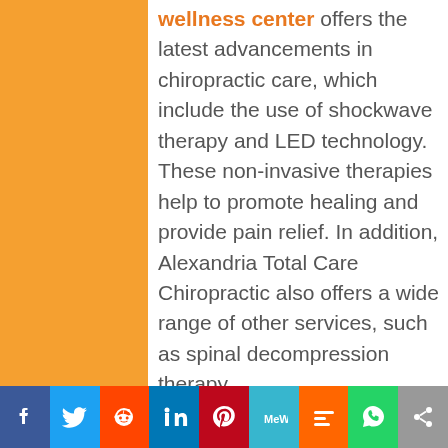wellness center offers the latest advancements in chiropractic care, which include the use of shockwave therapy and LED technology. These non-invasive therapies help to promote healing and provide pain relief. In addition, Alexandria Total Care Chiropractic also offers a wide range of other services, such as spinal decompression therapy.

In addition, the clinic offers a variety of clinical techniques that are designed to provide relief from pain, improve range of motion, and promote healing. Some of the techniques that are used at the clinic include SASTM (sound-assisted soft tissue mobilization), which helps to restore function in patients with muscular imbalances. Alexandria Total Care Chiropractic also has expertise in Pain...
Facebook | Twitter | Reddit | LinkedIn | Pinterest | MeWe | Mix | WhatsApp | Share